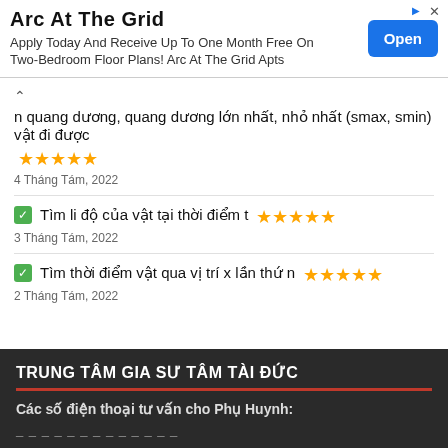[Figure (infographic): Advertisement banner for Arc At The Grid apartments with Open button]
n quang dương, quang dương lớn nhất, nhỏ nhất (smax, smin) vật đi được ★★★★★ — 4 Tháng Tám, 2022
✅ Tìm li độ của vật tại thời điểm t ★★★★★ — 3 Tháng Tám, 2022
✅ Tìm thời điểm vật qua vị trí x lần thứ n ★★★★★ — 2 Tháng Tám, 2022
TRUNG TÂM GIA SƯ TÂM TÀI ĐỨC
Các số điện thoại tư vấn cho Phụ Huynh:
…